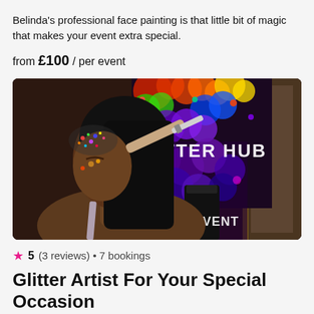Belinda's professional face painting is that little bit of magic that makes your event extra special.
from £100 / per event
[Figure (photo): Woman having glitter face paint applied with a brush, with a colorful rainbow glitter display in the background showing 'TTER HUB' and 'EVENT' text]
5 (3 reviews) • 7 bookings
Glitter Artist For Your Special Occasion